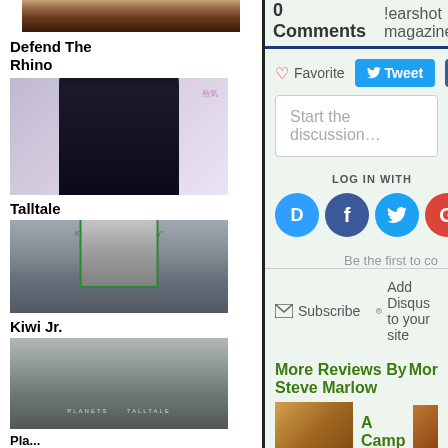[Figure (photo): Album art image at top of sidebar - brownish/reddish tones]
Defend The Rhino
[Figure (photo): Photo of a person with dark hair against light background]
Talltale
[Figure (photo): Album text and person in green-bordered box]
Kiwi Jr.
[Figure (photo): Grayscale landscape/album art image]
0 Comments
!earshot magazine
Disqus
Favorite
Tweet
Share
Start the discussion…
LOG IN WITH
OR SIGN UP WITH DI
Name
Be the first to co
Subscribe
Add Disqus to your site
More Reviews By Steve Marlow
Mor
[Figure (photo): Small album art thumbnail]
A Camp